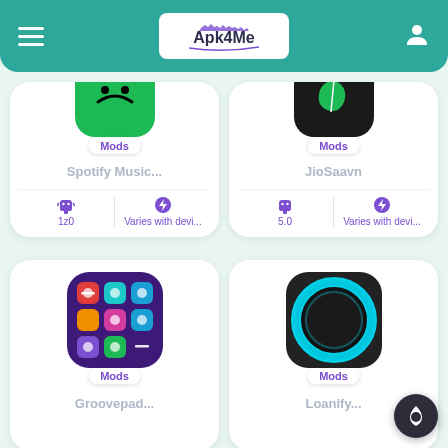Apk4Me
[Figure (screenshot): Partially visible Spotify Music app card with green Spotify logo icon, Mods badge, app name 'Spotify Music', version 1z0, and 'Varies with devi...' size]
[Figure (screenshot): Partially visible JioSaavn app card with dark icon and green leaf logo, Mods badge, app name 'JioSaavn', version 5.0, and 'Varies with devi...' size]
[Figure (screenshot): Groovepad app card with purple grid colorful buttons icon, Mods badge, app name 'Groovepad']
[Figure (screenshot): Loanify app card with dark rounded square icon featuring a cyan/teal glowing ring, Mods badge, app name 'Loanify']